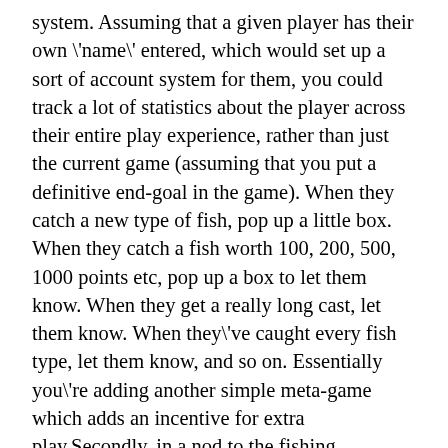system. Assuming that a given player has their own \'name\' entered, which would set up a sort of account system for them, you could track a lot of statistics about the player across their entire play experience, rather than just the current game (assuming that you put a definitive end-goal in the game). When they catch a new type of fish, pop up a little box. When they catch a fish worth 100, 200, 500, 1000 points etc, pop up a box to let them know. When they get a really long cast, let them know. When they\'ve caught every fish type, let them know, and so on. Essentially you\'re adding another simple meta-game which adds an incentive for extra play.Secondly, in a nod to the fishing minigame in Animal Crossing, you could take into account the time of the year and the time of the day on the player\'s machine. Some fish would only be available at night, some only during the summer / winter, perhaps a special Red-Nosed Reinfish which is only catchable on the 25th of December, that sort of thing. Giving the